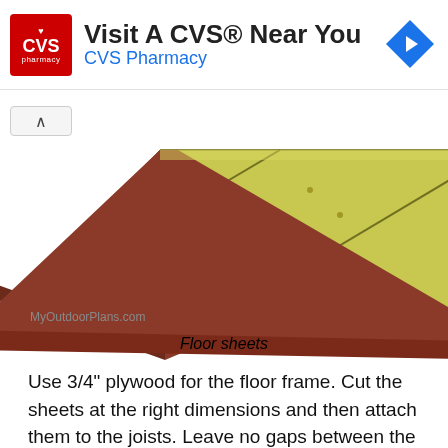[Figure (screenshot): CVS Pharmacy advertisement banner with red CVS logo, text 'Visit A CVS® Near You', blue subtitle 'CVS Pharmacy', and blue navigation arrow diamond icon on the right.]
[Figure (engineering-diagram): 3D perspective illustration of plywood floor sheets laid on joists, showing a triangular/diamond view of wood-grain panels with reddish frame underneath, from MyOutdoorPlans.com]
Floor sheets
Use 3/4" plywood for the floor frame. Cut the sheets at the right dimensions and then attach them to the joists. Leave no gaps between the sheets and secure them into place tightly with 1 5/8" screws, every 8" along the joists.